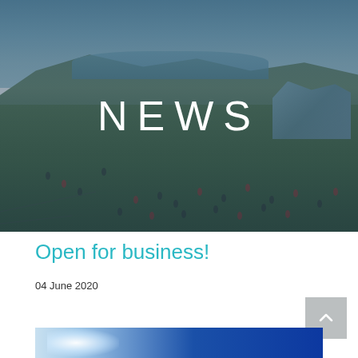[Figure (photo): Aerial or elevated view of a school sports field with students playing, hills and a harbor/bay visible in background, overlaid with a blue-teal tint. The word NEWS is displayed in large white thin letters in the center.]
Open for business!
04 June 2020
[Figure (photo): Partial view of a second image at the bottom of the page, showing a bright blue background with a light/sun effect, partially cropped.]